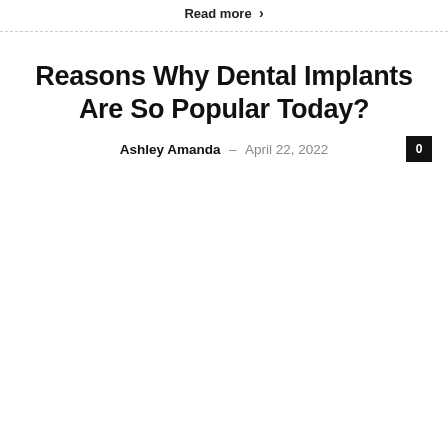Read more >
Reasons Why Dental Implants Are So Popular Today?
Ashley Amanda - April 22, 2022